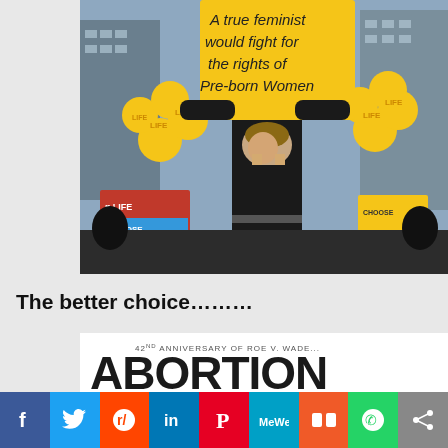[Figure (photo): A woman at a protest rally holding a yellow sign that reads 'A true feminist would fight for the rights of Pre-born Women', surrounded by yellow balloons with 'LIFE' written on them. Other protesters hold signs saying 'LOVE LIFE' and 'CHOOSE LIFE'.]
The better choice……….
[Figure (photo): Second image showing text '42nd ANNIVERSARY OF ROE V. WADE...' and the word 'ABORTION' in large letters on a white background.]
Facebook | Twitter | Reddit | LinkedIn | Pinterest | MeWe | Mix | WhatsApp | Share